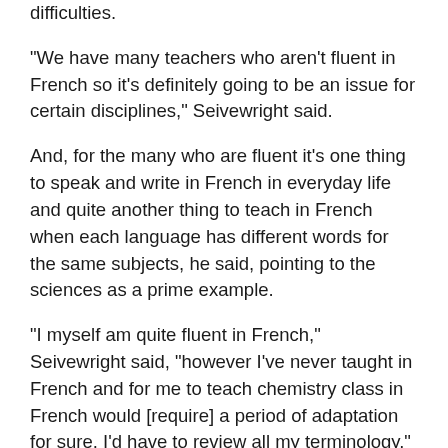difficulties.
"We have many teachers who aren’t fluent in French so it’s definitely going to be an issue for certain disciplines," Seivewright said.
And, for the many who are fluent it’s one thing to speak and write in French in everyday life and quite another thing to teach in French when each language has different words for the same subjects, he said, pointing to the sciences as a prime example.
"I myself am quite fluent in French," Seivewright said, "however I’ve never taught in French and for me to teach chemistry class in French would [require] a period of adaptation for sure. I’d have to review all my terminology."